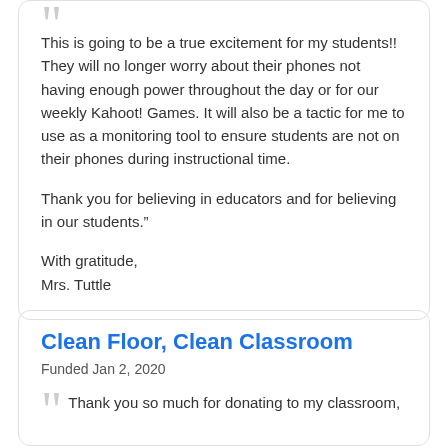This is going to be a true excitement for my students!! They will no longer worry about their phones not having enough power throughout the day or for our weekly Kahoot! Games. It will also be a tactic for me to use as a monitoring tool to ensure students are not on their phones during instructional time.
Thank you for believing in educators and for believing in our students.”
With gratitude,
Mrs. Tuttle
Clean Floor, Clean Classroom
Funded Jan 2, 2020
Thank you so much for donating to my classroom,